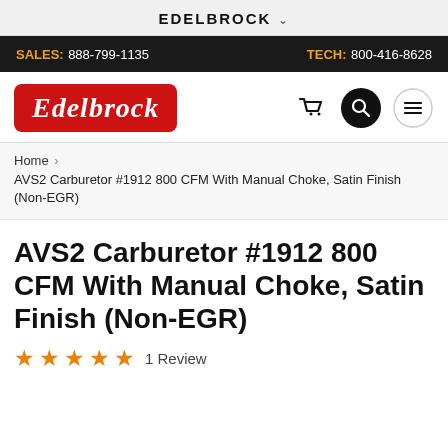EDELBROCK
SALES: 888-799-1135   TECH: 800-416-8628
[Figure (logo): Edelbrock red rounded rectangle logo with italic white script text]
Home > AVS2 Carburetor #1912 800 CFM With Manual Choke, Satin Finish (Non-EGR)
AVS2 Carburetor #1912 800 CFM With Manual Choke, Satin Finish (Non-EGR)
★★★★★ 1 Review